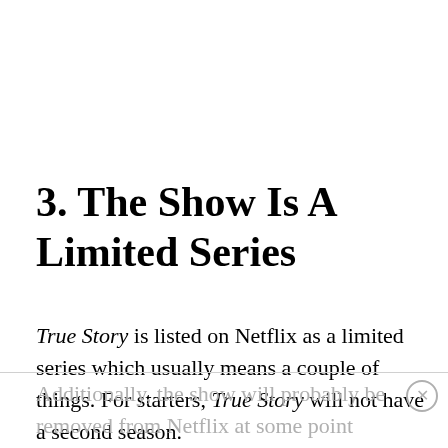3. The Show Is A Limited Series
True Story is listed on Netflix as a limited series which usually means a couple of things. For starters, True Story will not have a second season.
Additionally, the show will probably be removed from Netflix at some point which is something we've seen with other limited series that have been released on the platform.